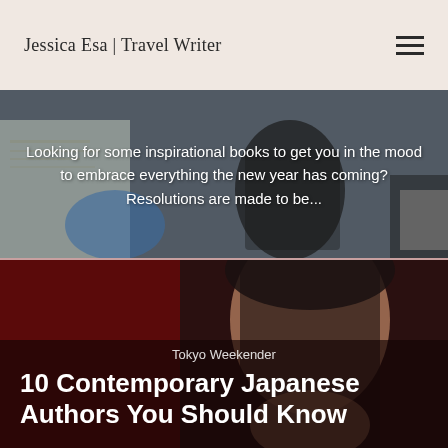Jessica Esa | Travel Writer
[Figure (photo): Background image of books including one with 'RUNNING' typography art, set on a light surface. Overlaid with white text about inspirational books.]
Looking for some inspirational books to get you in the mood to embrace everything the new year has coming? Resolutions are made to be...
[Figure (photo): Photo of a Japanese woman with long dark hair against a dark red/maroon background. Overlay shows source label and article title.]
Tokyo Weekender
10 Contemporary Japanese Authors You Should Know